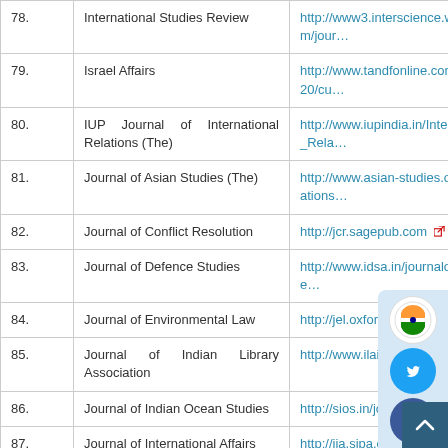| No. | Journal Name | URL |
| --- | --- | --- |
| 78. | International Studies Review | http://www3.interscience.wiley.com/jour… |
| 79. | Israel Affairs | http://www.tandfonline.com/toc/fisa20/cu… |
| 80. | IUP Journal of International Relations (The) | http://www.iupindia.in/International_Rela… |
| 81. | Journal of Asian Studies (The) | http://www.asian-studies.org/publications… |
| 82. | Journal of Conflict Resolution | http://jcr.sagepub.com |
| 83. | Journal of Defence Studies | http://www.idsa.in/journalofdefence… |
| 84. | Journal of Environmental Law | http://jel.oxfordjournals.org |
| 85. | Journal of Indian Library Association | http://www.ilaindia.net |
| 86. | Journal of Indian Ocean Studies | http://sios.in/journal |
| 87. | Journal of International Affairs | http://jia.sipa.columbia.edu |
| 88. | Journal of International | http://www.palgrave-journals.com/… |